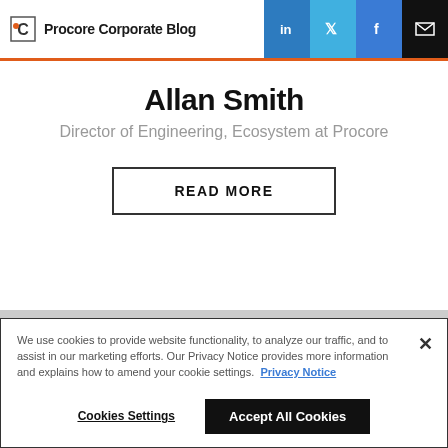Procore Corporate Blog
Allan Smith
Director of Engineering, Ecosystem at Procore
READ MORE
We use cookies to provide website functionality, to analyze our traffic, and to assist in our marketing efforts. Our Privacy Notice provides more information and explains how to amend your cookie settings. Privacy Notice
Cookies Settings  Accept All Cookies